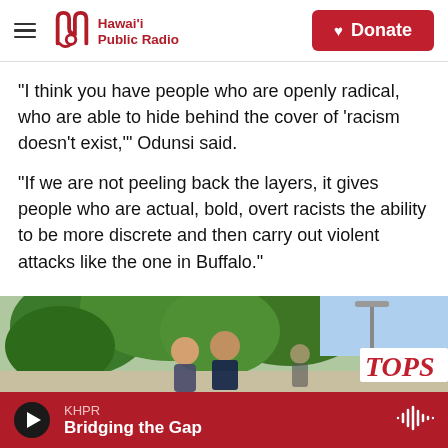Hawai'i Public Radio — Donate
"I think you have people who are openly radical, who are able to hide behind the cover of 'racism doesn't exist,'" Odunsi said.
"If we are not peeling back the layers, it gives people who are actual, bold, overt racists the ability to be more discrete and then carry out violent attacks like the one in Buffalo."
[Figure (photo): Outdoor scene with trees and people standing near a Tops grocery store sign]
KHPR — Bridging the Gap